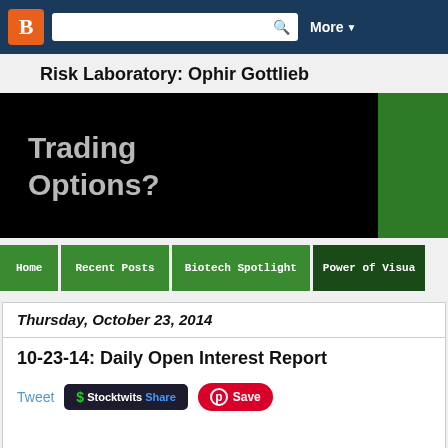Blogger | More
Risk Laboratory: Ophir Gottlieb
[Figure (screenshot): Blog banner with black background and 'Trading Options?' text in large gray letters, with green strip on right side]
[Figure (screenshot): Navigation bar with green buttons: Home, Recent Posts, Biotech Spotlight, Power of Visua...]
Thursday, October 23, 2014
10-23-14: Daily Open Interest Report
[Figure (screenshot): Social share buttons: Tweet link, Stocktwits Share button, Pinterest Save button]
Daily Option Interest Report